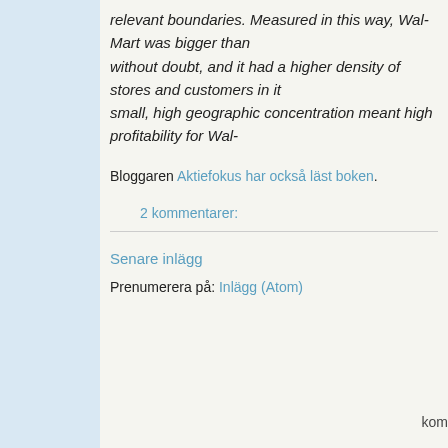relevant boundaries. Measured in this way, Wal-Mart was bigger than without doubt, and it had a higher density of stores and customers in it small, high geographic concentration meant high profitability for Wal-
Bloggaren Aktiefokus har också läst boken.
2 kommentarer:
Senare inlägg
Prenumerera på: Inlägg (Atom)
kom